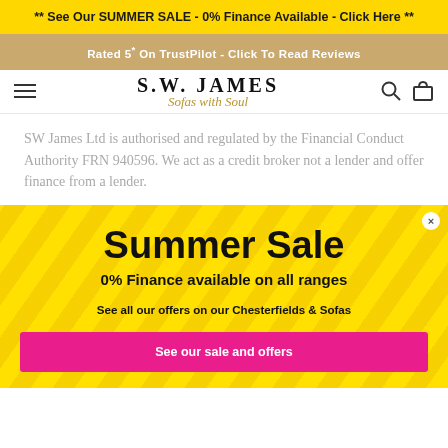** See Our SUMMER SALE - 0% Finance Available - Click Here **
Rated 5* On TrustPilot - Click To Read Reviews
[Figure (logo): S.W. James - Sofas with Soul logo]
SW James Ltd is authorised and regulated by the Financial Conduct Authority FRN 940596. We act as a credit broker not a lender and offer finance from a lender.
[Figure (infographic): Summer Sale popup banner with yellow background and diagonal stripes. Contains: 'Summer Sale', '0% Finance available on all ranges', 'See all our offers on our Chesterfields & Sofas', and a pink CTA button 'See our sale and offers']